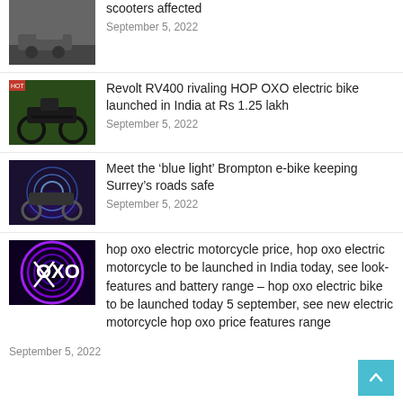scooters affected
September 5, 2022
Revolt RV400 rivaling HOP OXO electric bike launched in India at Rs 1.25 lakh
September 5, 2022
Meet the ‘blue light’ Brompton e-bike keeping Surrey’s roads safe
September 5, 2022
hop oxo electric motorcycle price, hop oxo electric motorcycle to be launched in India today, see look- features and battery range – hop oxo electric bike to be launched today 5 september, see new electric motorcycle hop oxo price features range
September 5, 2022